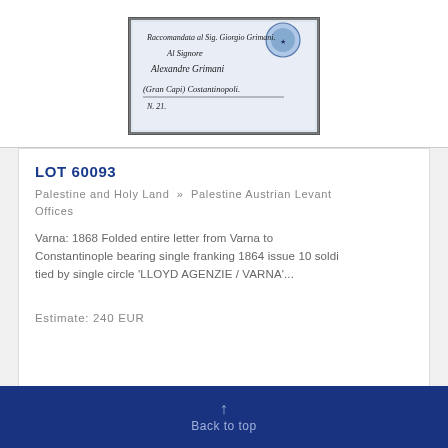[Figure (photo): Old handwritten letter/envelope addressed to Alexandre Grimani in Constantinople (Costantinopoli), with a blue stamp, showing cursive script including 'Raccomandata al Sig. Giorgio Grimani', 'Al Signore', 'Alexandre Grimani', '(Gran Capi) Costantinopoli', 'N. 21'.]
LOT 60093
Palestine and Holy Land » Palestine Austrian Levant Offices
Varna: 1868 Folded entire letter from Varna to Constantinople bearing single franking 1864 issue 10 soldi tied by single circle 'LLOYD AGENZIE / VARNA'...
Estimate: 240 EUR
↑ Back to top